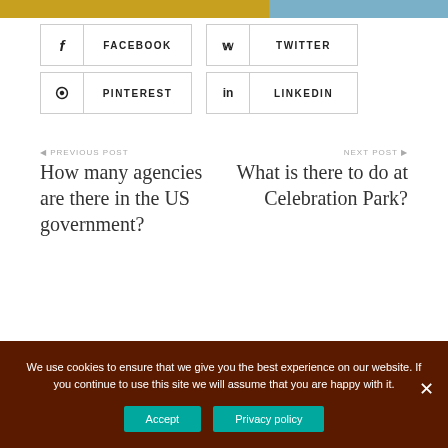[Figure (photo): Partial top image strip with gold/yellow and blue colors]
FACEBOOK
TWITTER
PINTEREST
LINKEDIN
PREVIOUS POST
How many agencies are there in the US government?
NEXT POST
What is there to do at Celebration Park?
We use cookies to ensure that we give you the best experience on our website. If you continue to use this site we will assume that you are happy with it.